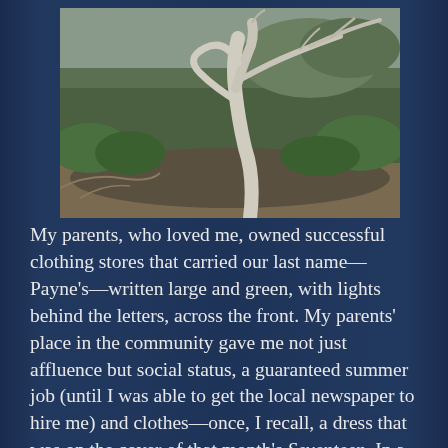[Figure (photo): A gnarled white-barked tree with twisted branches against a backdrop of green shrubs and vegetation, outdoors in natural light.]
My parents, who loved me, owned successful clothing stores that carried our last name—Payne's—written large and green, with lights behind the letters, across the front. My parents' place in the community gave me not just affluence but social status, a guaranteed summer job (until I was able to get the local newspaper to hire me) and clothes—once, I recall, a dress that was on the cover of that month's Seventeen. In a town and a time